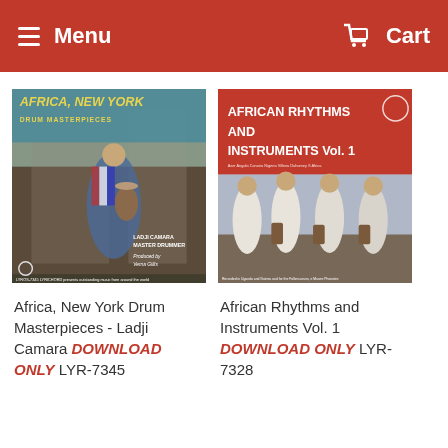Menu   Cart
[Figure (photo): Album cover: Africa, New York Drum Masterpieces - Ladji Camara Master Drummer, produced by Verna Gillis. Shows a drummer in colorful harlequin costume playing a djembe on a city street.]
Africa, New York Drum Masterpieces - Ladji Camara DOWNLOAD ONLY LYR-7345
[Figure (photo): Album cover: African Rhythms and Instruments Vol. 1. Red background with white text title and a photograph of musicians in white robes playing instruments.]
African Rhythms and Instruments Vol. 1 DOWNLOAD ONLY LYR-7328